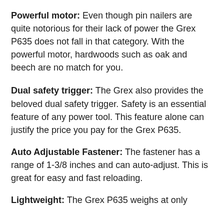Powerful motor: Even though pin nailers are quite notorious for their lack of power the Grex P635 does not fall in that category. With the powerful motor, hardwoods such as oak and beech are no match for you.
Dual safety trigger: The Grex also provides the beloved dual safety trigger. Safety is an essential feature of any power tool. This feature alone can justify the price you pay for the Grex P635.
Auto Adjustable Fastener: The fastener has a range of 1-3/8 inches and can auto-adjust. This is great for easy and fast reloading.
Lightweight: The Grex P635 weighs at only